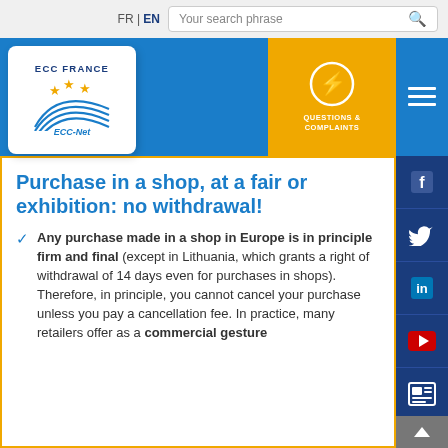FR | EN   Your search phrase
[Figure (logo): ECC France / ECC-Net logo with blue arc and gold stars on white card]
[Figure (infographic): Yellow block with lightning bolt icon and text QUESTIONS & COMPLAINTS]
[Figure (infographic): Social media sidebar with Facebook, Twitter, LinkedIn, YouTube, and news icons on dark blue background]
Purchase in a shop, at a fair or exhibition: no withdrawal!
Any purchase made in a shop in Europe is in principle firm and final (except in Lithuania, which grants a right of withdrawal of 14 days even for purchases in shops). Therefore, in principle, you cannot cancel your purchase unless you pay a cancellation fee. In practice, many retailers offer as a commercial gesture